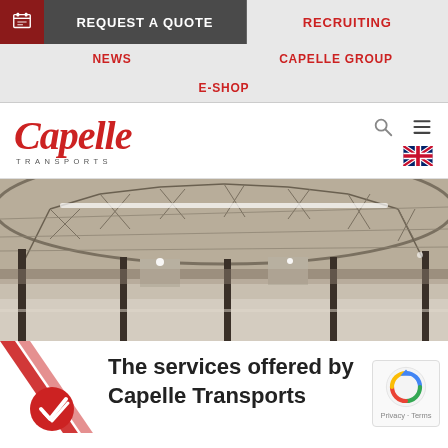REQUEST A QUOTE
RECRUITING
NEWS
CAPELLE GROUP
E-SHOP
[Figure (logo): Capelle Transports logo in red italic script with TRANSPORTS lettering below]
[Figure (photo): Interior of a large empty warehouse with steel truss roof structure, concrete floor, and industrial lighting]
The services offered by Capelle Transports